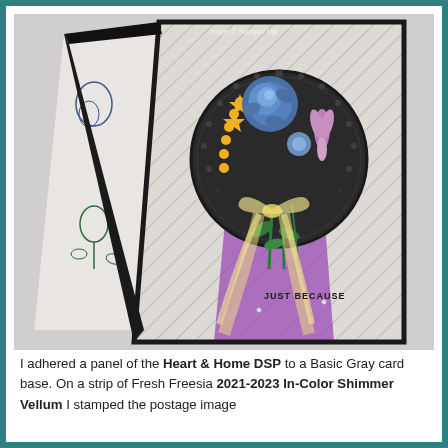[Figure (photo): A handmade greeting card standing upright on a gray surface. The card features a Heart & Home DSP woodgrain diagonal striped background in light gray, a dark charcoal/black doily embellishment, a bouquet of flowers including a blue rose, pink and purple blooms, and yellow flowers, tied with a sheer yellow ribbon bow. A purple Fresh Freesia shimmer vellum strip is layered over the front with the text 'JUST BECAUSE' stamped on it. The card has a postage image stamped on the left side panel visible behind the card.]
I adhered a panel of the Heart & Home DSP to a Basic Gray card base. On a strip of Fresh Freesia 2021-2023 In-Color Shimmer Vellum I stamped the postage image